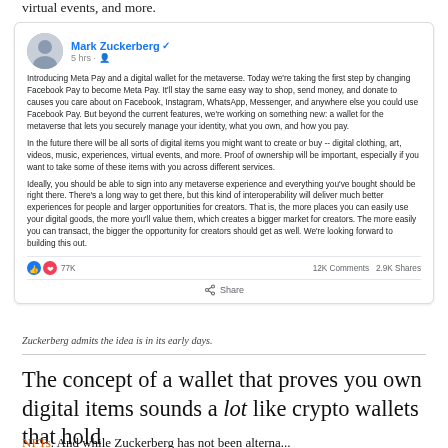virtual events, and more.
[Figure (screenshot): Facebook post screenshot by Mark Zuckerberg (verified) posted 5 hrs ago. Text: 'Introducing Meta Pay and a digital wallet for the metaverse. Today we're taking the first step by changing Facebook Pay to become Meta Pay. It'll stay the same easy way to shop, send money, and donate to causes you care about on Facebook, Instagram, WhatsApp, Messenger, and anywhere else you could use Facebook Pay. But beyond the current features, we're working on something new: a wallet for the metaverse that lets you securely manage your identity, what you own, and how you pay. In the future there will be all sorts of digital items you might want to create or buy -- digital clothing, art, videos, music, experiences, virtual events, and more. Proof of ownership will be important, especially if you want to take some of these items with you across different services. Ideally, you should be able to sign into any metaverse experience and everything you've bought should be right there. There's a long way to get there, but this kind of interoperability will deliver much better experiences for people and larger opportunities for creators. That is, the more places you can easily use your digital goods, the more you'll value them, which creates a bigger market for creators. The more easily you can transact, the bigger the opportunity for creators should get as well. We're looking forward to building this out.' Reactions: 77K likes, 12K Comments, 2.9K Shares.]
Zuckerberg admits the idea is in its early days.
The concept of a wallet that proves you own digital items sounds a lot like crypto wallets that hold NFTs. And while Zuckerberg has not been alternative...